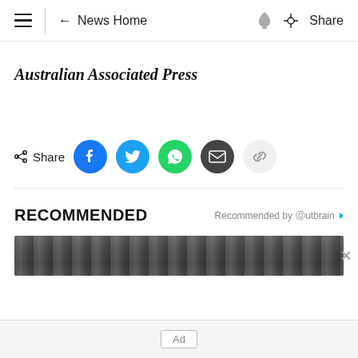≡  ← News Home  🔔  Share
Australian Associated Press
Share (social icons: Facebook, Twitter, WhatsApp, Email, Link)
RECOMMENDED
Recommended by Outbrain
[Figure (photo): Partial grayscale image visible at bottom of recommended section]
Ad